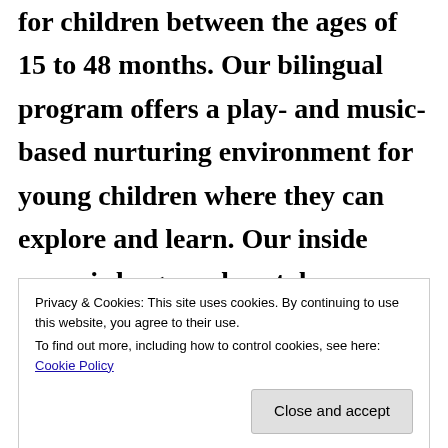for children between the ages of 15 to 48 months. Our bilingual program offers a play- and music-based nurturing environment for young children where they can explore and learn. Our inside space is large and we take children outside every day to our spacious and
Privacy & Cookies: This site uses cookies. By continuing to use this website, you agree to their use.
To find out more, including how to control cookies, see here: Cookie Policy
English speakers and together have more